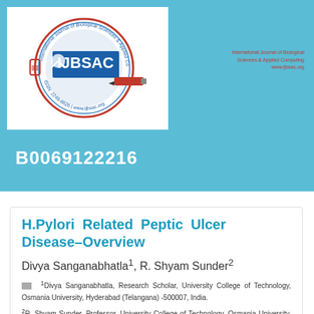[Figure (logo): IJBSAC journal logo with circular emblem showing science symbols and text]
Journal info lines (red text, right side of header)
B0069122216
H.Pylori Related Peptic Ulcer Disease–Overview
Divya Sanganabhatla1, R. Shyam Sunder2
1Divya Sanganabhatla, Research Scholar, University College of Technology, Osmania University, Hyderabad (Telangana) -500007, India.
2R. Shyam Sunder, Professor, University College of Technology, Osmania University, Hyderabad-500007, (Telangana), India.